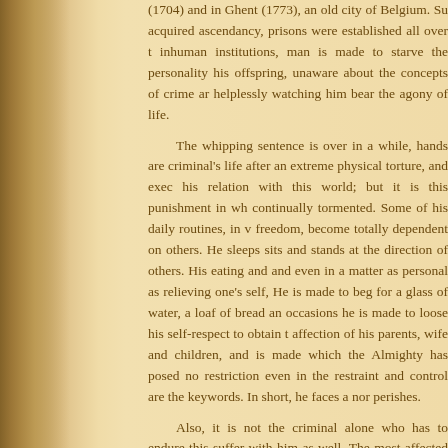(1704) and in Ghent (1773), an old city of Belgium. Su acquired ascendancy, prisons were established all over t inhuman institutions, man is made to starve the personality his offspring, unaware about the concepts of crime ar helplessly watching him bear the agony of life.
The whipping sentence is over in a while, hands are criminal's life after an extreme physical torture, and exec his relation with this world; but it is this punishment in wh continually tormented. Some of his daily routines, in v freedom, become totally dependent on others. He sleeps sits and stands at the direction of others. His eating and and even in a matter as personal as relieving one's self, He is made to beg for a glass of water, a loaf of bread an occasions he is made to loose his self-respect to obtain t affection of his parents, wife and children, and is made which the Almighty has posed no restriction even in the restraint and control are the keywords. In short, he faces a nor perishes.
Also, it is not the criminal alone who has to endure this suffer with him as well. The most affected among the psychological, social and economic problems she has to ten years can only be estimated by the faithful wives traumatic experience. The children also suffer an ordeal they are affected psychologically when they observe...